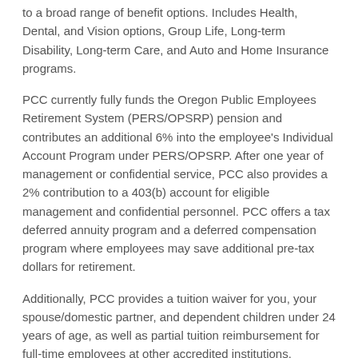to a broad range of benefit options. Includes Health, Dental, and Vision options, Group Life, Long-term Disability, Long-term Care, and Auto and Home Insurance programs.
PCC currently fully funds the Oregon Public Employees Retirement System (PERS/OPSRP) pension and contributes an additional 6% into the employee's Individual Account Program under PERS/OPSRP. After one year of management or confidential service, PCC also provides a 2% contribution to a 403(b) account for eligible management and confidential personnel. PCC offers a tax deferred annuity program and a deferred compensation program where employees may save additional pre-tax dollars for retirement.
Additionally, PCC provides a tuition waiver for you, your spouse/domestic partner, and dependent children under 24 years of age, as well as partial tuition reimbursement for full-time employees at other accredited institutions.
Paid Leave: (Pro-rated by FTE for Part-Time Employees)
* 14.67 hours of vacation leave per month
* 1 day of sick leave per month
* 11 holidays